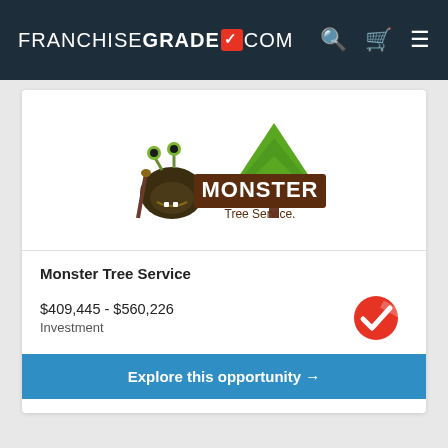FRANCHISEGRADE✓.COM
[Figure (logo): Monster Tree Service logo with cartoon monster character and green pine tree]
Monster Tree Service
$409,445 - $560,226
Investment
Explore this opportunity →